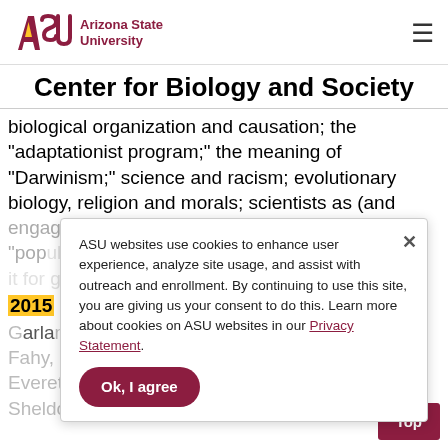ASU Arizona State University
Center for Biology and Society
biological organization and causation; the "adaptationist program;" the meaning of "Darwinism;" science and racism; evolutionary biology, religion and morals; scientists as (and engaging with) historians and philosophers; the "populationist" worldview and downsides of taking it for granted. How does an into all this?
2015
Garland Allen, Mark Borrello, Doug Erwin, Declan Fahy, Patrick Forber, Alan Love, Elisabeth Lloyd, Everett Mendelsohn, Diane Paul, Myrna Perez Sheldon, Michael Weisberg